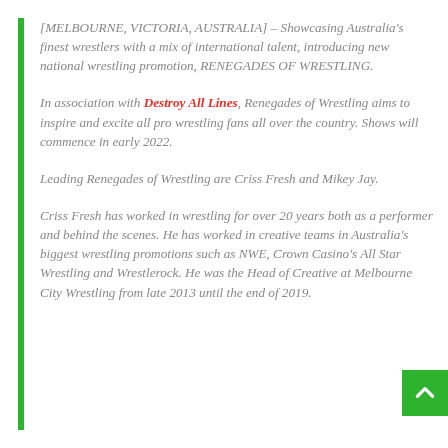[MELBOURNE, VICTORIA, AUSTRALIA] – Showcasing Australia's finest wrestlers with a mix of international talent, introducing new national wrestling promotion, RENEGADES OF WRESTLING.
In association with Destroy All Lines, Renegades of Wrestling aims to inspire and excite all pro wrestling fans all over the country. Shows will commence in early 2022.
Leading Renegades of Wrestling are Criss Fresh and Mikey Jay.
Criss Fresh has worked in wrestling for over 20 years both as a performer and behind the scenes. He has worked in creative teams in Australia's biggest wrestling promotions such as NWE, Crown Casino's All Star Wrestling and Wrestlerock. He was the Head of Creative at Melbourne City Wrestling from late 2013 until the end of 2019.